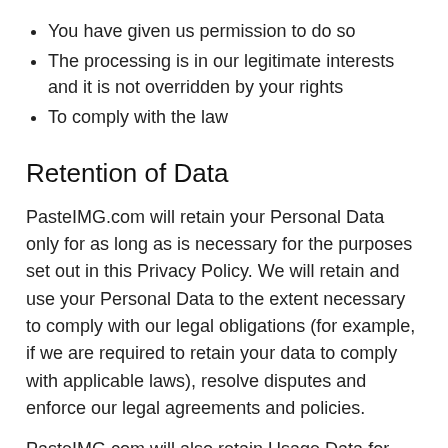You have given us permission to do so
The processing is in our legitimate interests and it is not overridden by your rights
To comply with the law
Retention of Data
PasteIMG.com will retain your Personal Data only for as long as is necessary for the purposes set out in this Privacy Policy. We will retain and use your Personal Data to the extent necessary to comply with our legal obligations (for example, if we are required to retain your data to comply with applicable laws), resolve disputes and enforce our legal agreements and policies.
PasteIMG.com will also retain Usage Data for internal analysis purposes. Usage Data is generally retained for a shorter period of time, except when this data is used to